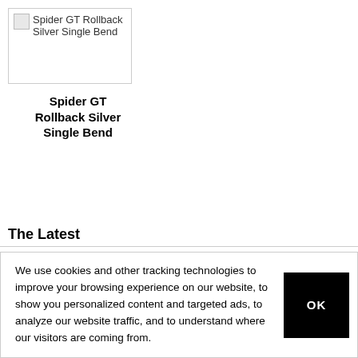[Figure (illustration): Broken image placeholder for Spider GT Rollback Silver Single Bend product image]
Spider GT Rollback Silver Single Bend
The Latest
We use cookies and other tracking technologies to improve your browsing experience on our website, to show you personalized content and targeted ads, to analyze our website traffic, and to understand where our visitors are coming from.